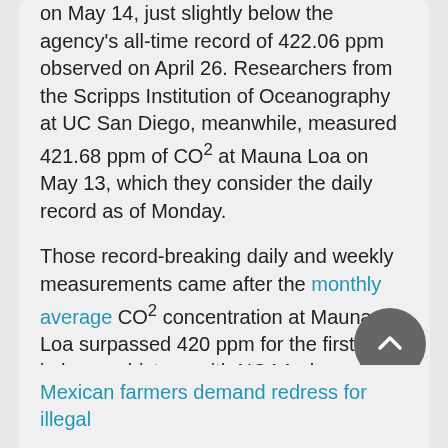on May 14, just slightly below the agency's all-time record of 422.06 ppm observed on April 26. Researchers from the Scripps Institution of Oceanography at UC San Diego, meanwhile, measured 421.68 ppm of CO² at Mauna Loa on May 13, which they consider the daily record as of Monday.

Those record-breaking daily and weekly measurements came after the monthly average CO² concentration at Mauna Loa surpassed 420 ppm for the first time in human history, with NOAA observing 420.23 ppm in April compared with Scripps at 420.02 ppm.
Mexican farmers demand redress for illegal